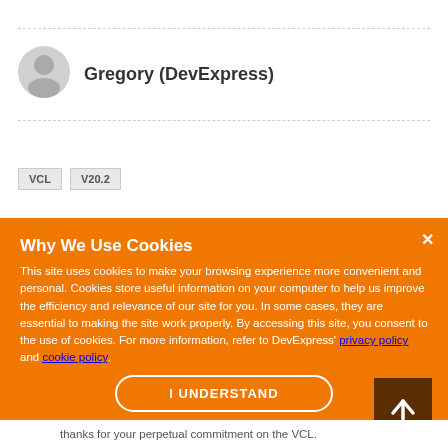[Figure (illustration): User avatar silhouette icon (grey person placeholder) next to username Gregory (DevExpress)]
Gregory (DevExpress)
VCL  V20.2
Why We Use Cookies
This site uses cookies to make your browsing experience more convenient and personal. Cookies store useful information on your computer to help us improve the efficiency and relevance of our site for you. In some cases, they are essential to making the site work properly. By accessing this site, you consent to the use of cookies. For more information, refer to DevExpress' privacy policy and cookie policy.
I UNDERSTAND
thanks for your perpetual commitment on the VCL.